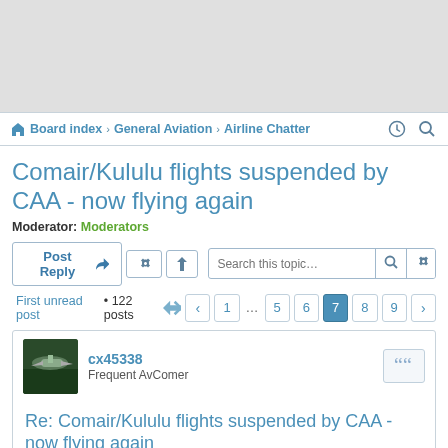Board index › General Aviation › Airline Chatter
Comair/Kululu flights suspended by CAA - now flying again
Moderator: Moderators
Post Reply | Tools | Search this topic...
First unread post • 122 posts  ← 1 ... 5 6 7 8 9 →
cx45338
Frequent AvComer
Re: Comair/Kululu flights suspended by CAA - now flying again
Tue Mar 22, 2022 2:56 pm
Volo wrote: ↑
Absolutely - Perfect logic. The fact that the CAA did not do this but went